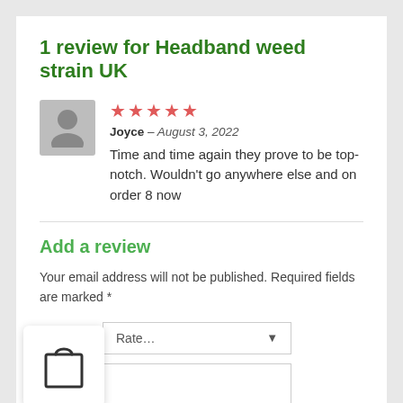1 review for Headband weed strain UK
★★★★★
Joyce – August 3, 2022
Time and time again they prove to be top-notch. Wouldn't go anywhere else and on order 8 now
Add a review
Your email address will not be published. Required fields are marked *
Your rating * Rate...
Your review *
[Figure (illustration): Shopping bag icon popup overlay]